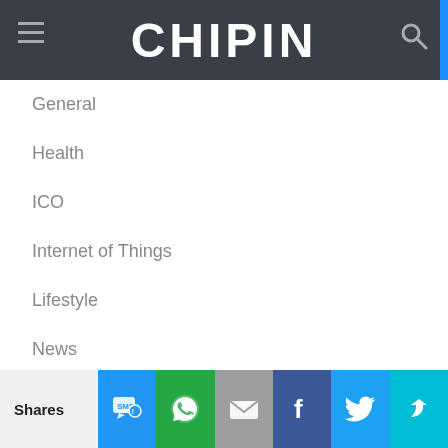CHIPIN
General
Health
ICO
Internet of Things
Lifestyle
News
Past Campaigns
Reviews
Robots
Smart Home
SmartWatch
Shares